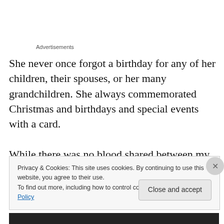Advertisements
She never once forgot a birthday for any of her children, their spouses, or her many grandchildren. She always commemorated Christmas and birthdays and special events with a card.

While there was no blood shared between my grandmother and I (I was adopted at birth), still, Grandma
Privacy & Cookies: This site uses cookies. By continuing to use this website, you agree to their use.
To find out more, including how to control cookies, see here: Cookie Policy
Close and accept